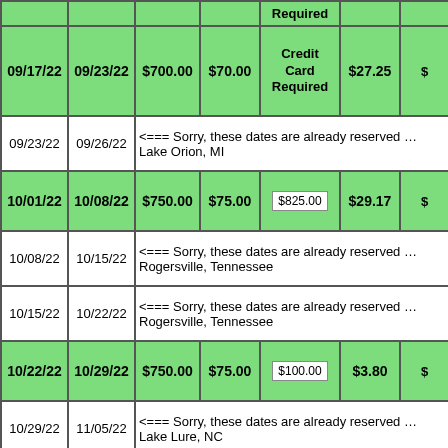| Start | End | Price | Deposit | Deposit Required | Per Night |  |
| --- | --- | --- | --- | --- | --- | --- |
| 09/17/22 | 09/23/22 | $700.00 | $70.00 | Credit Card Required | $27.25 | $ |
| 09/23/22 | 09/26/22 | <== Sorry, these dates are already reserved ... Lake Orion, MI |  |  |  |  |
| 10/01/22 | 10/08/22 | $750.00 | $75.00 | $825.00 | $29.17 | $ |
| 10/08/22 | 10/15/22 | <== Sorry, these dates are already reserved ... Rogersville, Tennessee |  |  |  |  |
| 10/15/22 | 10/22/22 | <== Sorry, these dates are already reserved ... Rogersville, Tennessee |  |  |  |  |
| 10/22/22 | 10/29/22 | $750.00 | $75.00 | $100.00 | $3.80 | $ |
| 10/29/22 | 11/05/22 | <== Sorry, these dates are already reserved ... Lake Lure, NC |  |  |  |  |
| 11/05/22 | 11/12/22 | $750.00 | $75.00 | $100.00 | $3.80 | $ |